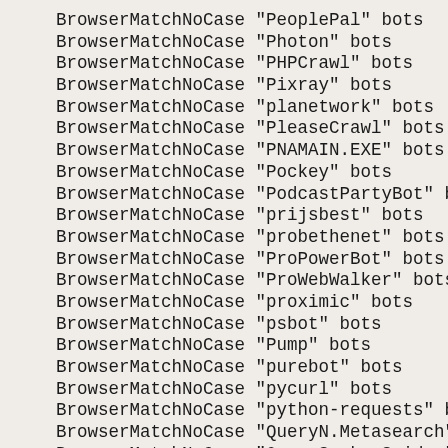BrowserMatchNoCase "PeoplePal" bots
BrowserMatchNoCase "Photon" bots
BrowserMatchNoCase "PHPCrawl" bots
BrowserMatchNoCase "Pixray" bots
BrowserMatchNoCase "planetwork" bots
BrowserMatchNoCase "PleaseCrawl" bots
BrowserMatchNoCase "PNAMAIN.EXE" bots
BrowserMatchNoCase "Pockey" bots
BrowserMatchNoCase "PodcastPartyBot" bots
BrowserMatchNoCase "prijsbest" bots
BrowserMatchNoCase "probethenet" bots
BrowserMatchNoCase "ProPowerBot" bots
BrowserMatchNoCase "ProWebWalker" bots
BrowserMatchNoCase "proximic" bots
BrowserMatchNoCase "psbot" bots
BrowserMatchNoCase "Pump" bots
BrowserMatchNoCase "purebot" bots
BrowserMatchNoCase "pycurl" bots
BrowserMatchNoCase "python-requests" bots
BrowserMatchNoCase "QueryN.Metasearch" bots
BrowserMatchNoCase "QuerySeekerSpider" bots
BrowserMatchNoCase "R6.CommentReader" bots